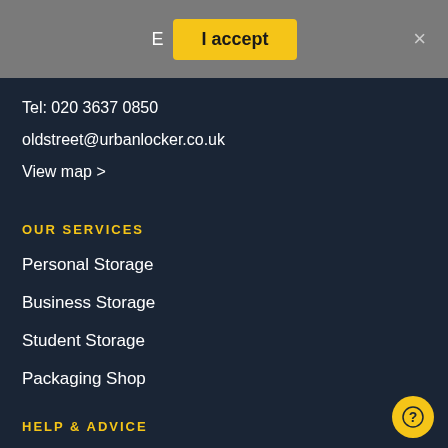E  I accept  ×
Tel: 020 3637 0850
oldstreet@urbanlocker.co.uk
View map >
OUR SERVICES
Personal Storage
Business Storage
Student Storage
Packaging Shop
HELP & ADVICE